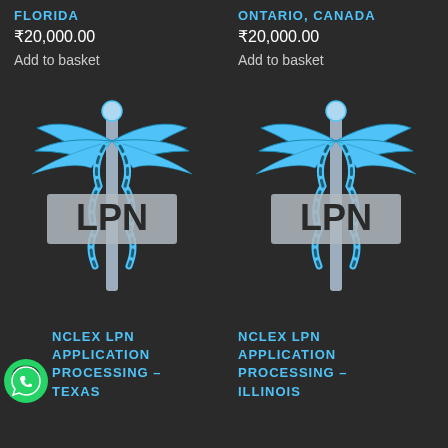FLORIDA
₹20,000.00
Add to basket
ONTARIO, CANADA
₹20,000.00
Add to basket
[Figure (illustration): LPN caduceus logo with blue wings and snakes, grey LPN text banner]
[Figure (illustration): LPN caduceus logo with blue wings and snakes, grey LPN text banner]
NCLEX LPN APPLICATION PROCESSING – TEXAS
NCLEX LPN APPLICATION PROCESSING – ILLINOIS